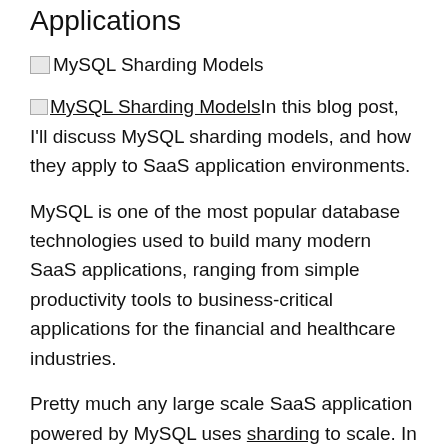Applications
[Figure (photo): MySQL Sharding Models image placeholder (broken image icon)]
MySQL Sharding Models In this blog post, I'll discuss MySQL sharding models, and how they apply to SaaS application environments.
MySQL is one of the most popular database technologies used to build many modern SaaS applications, ranging from simple productivity tools to business-critical applications for the financial and healthcare industries.
Pretty much any large scale SaaS application powered by MySQL uses sharding to scale. In this blog post, we will discuss sharding choices as they apply to these kinds of applications.